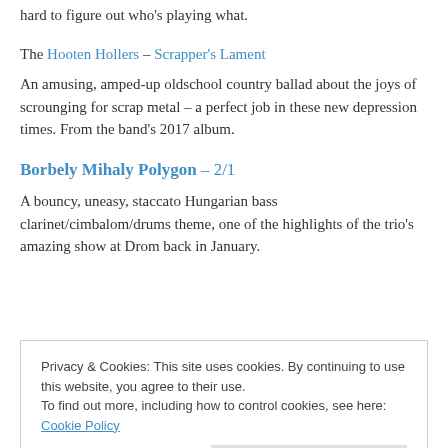hard to figure out who's playing what.
The Hooten Hollers – Scrapper's Lament
An amusing, amped-up oldschool country ballad about the joys of scrounging for scrap metal – a perfect job in these new depression times. From the band's 2017 album.
Borbely Mihaly Polygon – 2/1
A bouncy, uneasy, staccato Hungarian bass clarinet/cimbalom/drums theme, one of the highlights of the trio's amazing show at Drom back in January.
Privacy & Cookies: This site uses cookies. By continuing to use this website, you agree to their use. To find out more, including how to control cookies, see here: Cookie Policy
Smith clarity and Amir ElSaffar majesty. From the group's